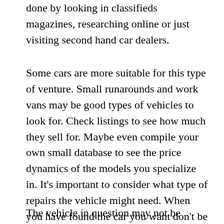done by looking in classifieds magazines, researching online or just visiting second hand car dealers.
Some cars are more suitable for this type of venture. Small runarounds and work vans may be good types of vehicles to look for. Check listings to see how much they sell for. Maybe even compile your own small database to see the price dynamics of the models you specialize in. It's important to consider what type of repairs the vehicle might need. When you have found the car you want don't be afraid to haggle with the seller. What have you got to lose? Remain polite and don't be aggressive and you could get a substantial discount.
The vehicle in question may not be drivable so you might need to get it towed to the premises/location...